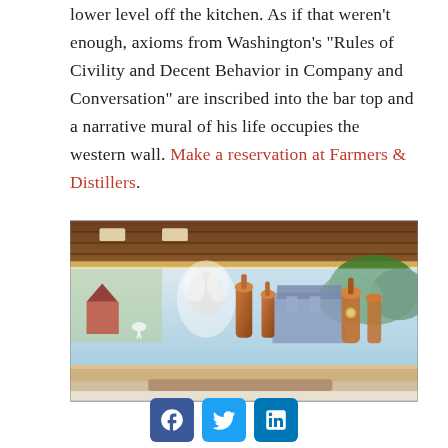lower level off the kitchen. As if that weren't enough, axioms from Washington's "Rules of Civility and Decent Behavior in Company and Conversation" are inscribed into the bar top and a narrative mural of his life occupies the western wall. Make a reservation at Farmers & Distillers.
[Figure (photo): Interior restaurant photo showing a long panoramic mural on the wall depicting George Washington's life, with copper distillery equipment, a barn, wildlife, and a garden scene. The mural is painted in an illustrative style along a wall above restaurant booths. The ceiling is wood-paneled with recessed lighting.]
[Figure (infographic): Social media sharing icons: Facebook (blue, f), Twitter (blue, bird), LinkedIn (blue, in)]